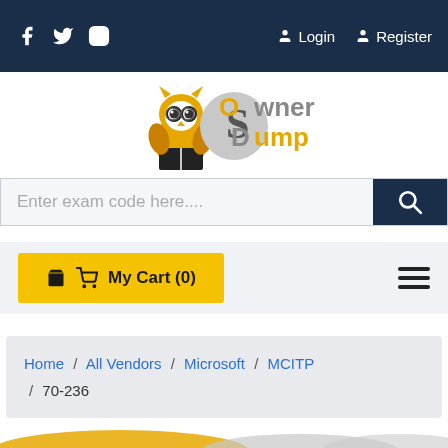Social icons (Facebook, Twitter, Instagram) | Login | Register
[Figure (logo): OwnerDump logo with owl mascot, text 'Owner Dump' in gray and orange]
Enter exam code here....
My Cart (0)
Home / All Vendors / Microsoft / MCITP / 70-236